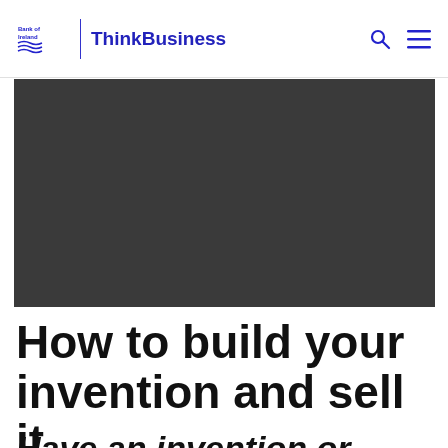Bank of Ireland | ThinkBusiness
[Figure (photo): Dark gray rectangular hero image placeholder]
How to build your invention and sell it
Have an invention or something...